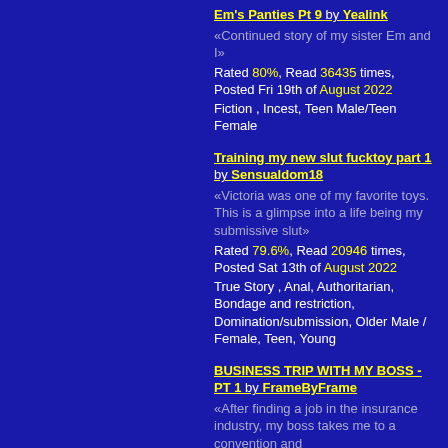Em's Panties Pt 9 by Yealink — «Continued story of my sister Em and I» — Rated 80%, Read 36435 times, Posted Fri 19th of August 2022. Fiction , Incest, Teen Male/Teen Female
Training my new slut fucktoy part 1 by Sensualdom18 — «Victoria was one of my favorite toys. This is a glimpse into a life being my submissive slut» — Rated 79.6%, Read 20946 times, Posted Sat 13th of August 2022. True Story , Anal, Authoritarian, Bondage and restriction, Domination/submission, Older Male / Female, Teen, Young
BUSINESS TRIP WITH MY BOSS - PT 1 by FrameByFrame — «After finding a job in the insurance industry, my boss takes me to a convention and